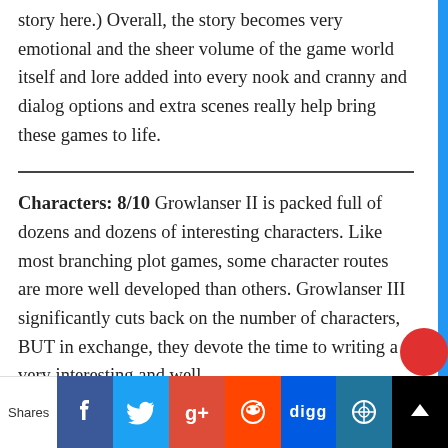story here.) Overall, the story becomes very emotional and the sheer volume of the game world itself and lore added into every nook and cranny and dialog options and extra scenes really help bring these games to life.
Characters: 8/10 Growlanser II is packed full of dozens and dozens of interesting characters. Like most branching plot games, some character routes are more well developed than others. Growlanser III significantly cuts back on the number of characters, BUT in exchange, they devote the time to writing a very interesting and well
[Figure (infographic): Social share bar at bottom with icons for Facebook, Twitter, Google+, Reddit, Digg, WordPress, and an additional share button. Shows 'Shares' label on left.]